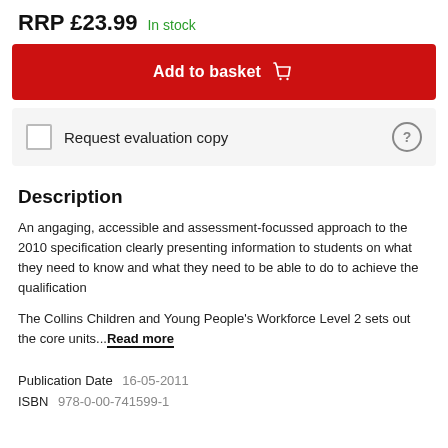RRP £23.99 In stock
Add to basket
Request evaluation copy
Description
An angaging, accessible and assessment-focussed approach to the 2010 specification clearly presenting information to students on what they need to know and what they need to be able to do to achieve the qualification
The Collins Children and Young People's Workforce Level 2 sets out the core units...Read more
Publication Date  16-05-2011
ISBN  978-0-00-741599-1